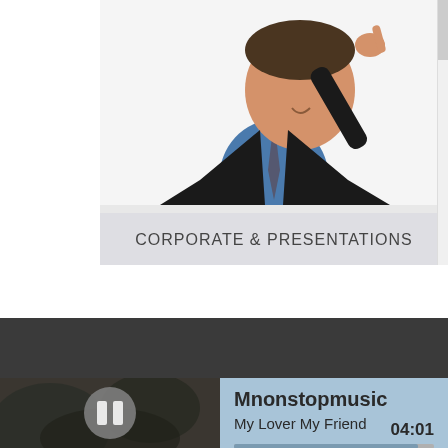[Figure (photo): Screenshot of a website showing a business/corporate category card. A man in a suit pointing, with a banner label reading 'CORPORATE & PRESENTATIONS'. A scrollbar is visible on the right side.]
CORPORATE & PRESENTATIONS
ABOUT ME
[Figure (screenshot): Music player widget showing artist 'Mnonstopmusic', song 'My Lover My Friend', a progress bar nearly complete, pause button, and duration 04:01. Album art thumbnail on the left with a dark overlay.]
Mnonstopmusic
My Lover My Friend
04:01